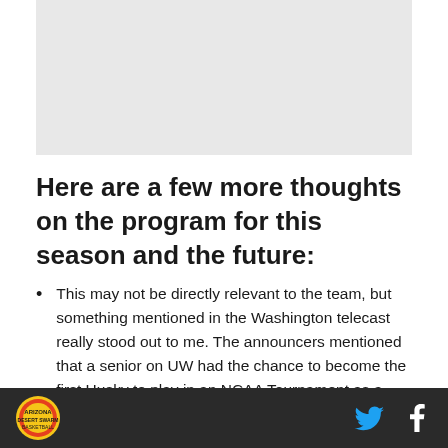[Figure (photo): Image placeholder at the top of the page]
Here are a few more thoughts on the program for this season and the future:
This may not be directly relevant to the team, but something mentioned in the Washington telecast really stood out to me. The announcers mentioned that a senior on UW had the chance to become the first Husky to play in an NCAA Tournament as a freshman, sophomore, junior and senior. More than 100+ years of basketball and no player had ever reached four straight tournaments. Arizona has failed to make March